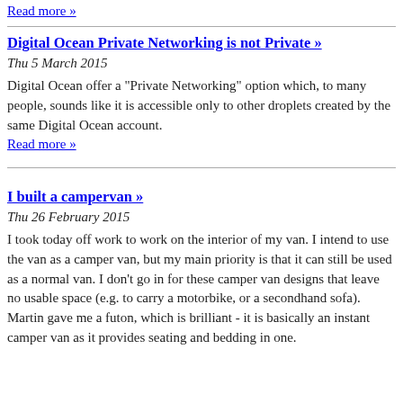Read more »
Digital Ocean Private Networking is not Private »
Thu 5 March 2015
Digital Ocean offer a "Private Networking" option which, to many people, sounds like it is accessible only to other droplets created by the same Digital Ocean account.
Read more »
I built a campervan »
Thu 26 February 2015
I took today off work to work on the interior of my van. I intend to use the van as a camper van, but my main priority is that it can still be used as a normal van. I don't go in for these camper van designs that leave no usable space (e.g. to carry a motorbike, or a secondhand sofa). Martin gave me a futon, which is brilliant - it is basically an instant camper van as it provides seating and bedding in one.